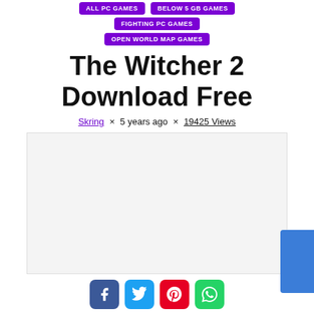ALL PC GAMES  ×  BELOW 5 GB GAMES  ×  FIGHTING PC GAMES  ×  OPEN WORLD MAP GAMES
The Witcher 2 Download Free
Skring × 5 years ago × 19425 Views
[Figure (other): Advertisement placeholder (light grey box)]
Share buttons: Facebook, Twitter, Pinterest, WhatsApp